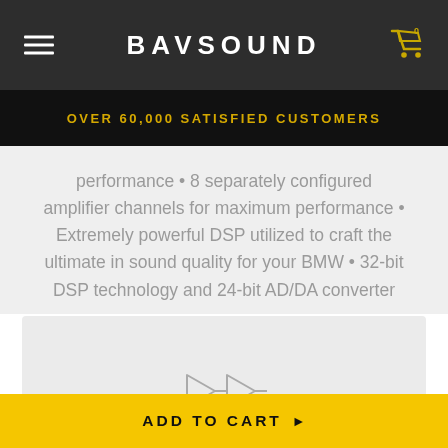BAVSOUND
OVER 60,000 SATISFIED CUSTOMERS
performance • 8 separately configured amplifier channels for maximum performance • Extremely powerful DSP utilized to craft the ultimate in sound quality for your BMW • 32-bit DSP technology and 24-bit AD/DA converter
[Figure (other): Inputs/Outputs icon — two triangular buffer/signal symbols chained together]
INPUTS / OUTPUTS
ADD TO CART ▶